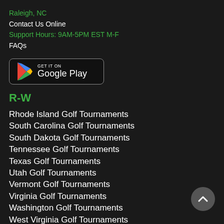Raleigh, NC
Contact Us Online
Support Hours: 9AM-5PM EST M-F
FAQs
[Figure (logo): Google Play store badge button with play icon and text GET IT ON Google Play]
R-W
Rhode Island Golf Tournaments
South Carolina Golf Tournaments
South Dakota Golf Tournaments
Tennessee Golf Tournaments
Texas Golf Tournaments
Utah Golf Tournaments
Vermont Golf Tournaments
Virginia Golf Tournaments
Washington Golf Tournaments
West Virginia Golf Tournaments
Wisconsin Golf Tournaments
Wyoming Golf Tournaments
Golf Tournaments by State
Golf Tournaments by US City